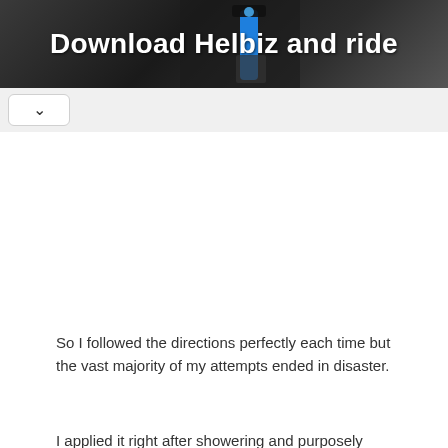[Figure (photo): Dark banner image showing a scooter handlebar with blue accent, with white bold text overlay reading 'Download Helbiz and ride']
So I followed the directions perfectly each time but the vast majority of my attempts ended in disaster.
I applied it right after showering and purposely didn't dry my